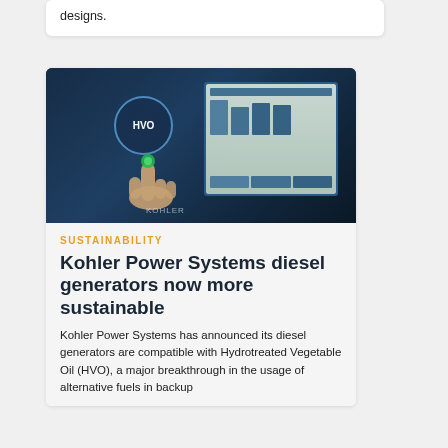designs.
[Figure (photo): A hand pointing at a touchscreen control panel displaying a Kohler generator management software interface with an HVO (Hydrotreated Vegetable Oil) logo visible on a dark background.]
SUSTAINABILITY
Kohler Power Systems diesel generators now more sustainable
Kohler Power Systems has announced its diesel generators are compatible with Hydrotreated Vegetable Oil (HVO), a major breakthrough in the usage of alternative fuels in backup